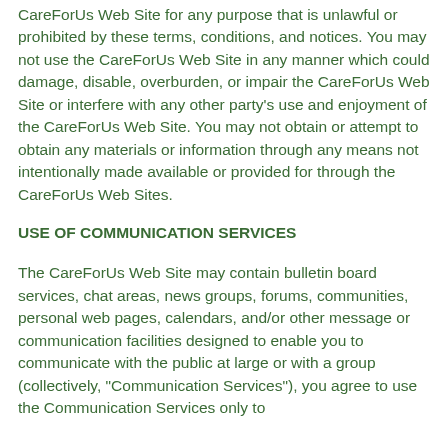CareForUs Web Site for any purpose that is unlawful or prohibited by these terms, conditions, and notices. You may not use the CareForUs Web Site in any manner which could damage, disable, overburden, or impair the CareForUs Web Site or interfere with any other party's use and enjoyment of the CareForUs Web Site. You may not obtain or attempt to obtain any materials or information through any means not intentionally made available or provided for through the CareForUs Web Sites.
USE OF COMMUNICATION SERVICES
The CareForUs Web Site may contain bulletin board services, chat areas, news groups, forums, communities, personal web pages, calendars, and/or other message or communication facilities designed to enable you to communicate with the public at large or with a group (collectively, "Communication Services"), you agree to use the Communication Services only to